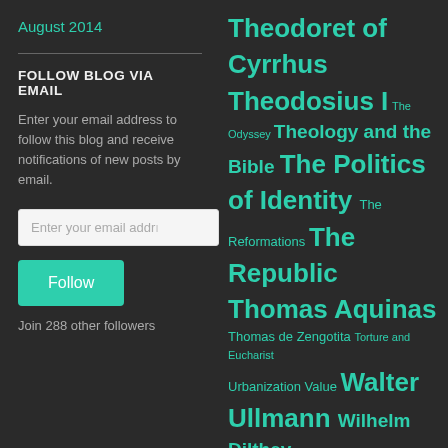August 2014
FOLLOW BLOG VIA EMAIL
Enter your email address to follow this blog and receive notifications of new posts by email.
Enter your email addr…
Follow
Join 288 other followers
Theodoret of Cyrrhus Theodosius I The Odyssey Theology and the Bible The Politics of Identity The Reformations The Republic Thomas Aquinas Thomas de Zengotita Torture and Eucharist Urbanization Value Walter Ullmann Wilhelm Dilthey William Cavanaugh William of Ockham Wolfhart Pannenberg World War II Zwingli